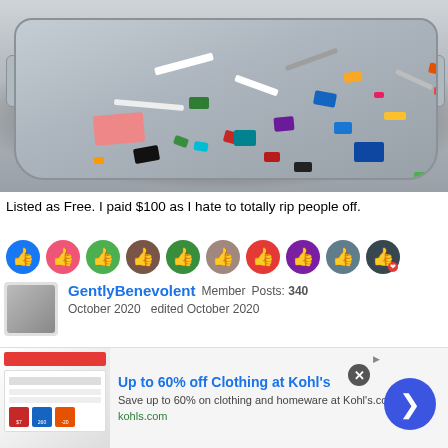[Figure (photo): A large grey plastic storage bin/tub filled with a large collection of mixed LEGO pieces and parts in many colors including red, blue, green, yellow, white, black, orange, pink, and purple.]
Listed as Free. I paid $100 as I hate to totally rip people off.
[Figure (other): A row of 10 reaction/like icons with various colored circular backgrounds showing thumbs-up emoji reactions from different users.]
GentlyBenevolent Member Posts: 340
October 2020   edited October 2020
ATM my Lego days are pretty dark having liquidated 99.9% of my Lego
[Figure (other): Advertisement banner: Up to 60% off Clothing at Kohl's. Save up to 60% on clothing and homeware at Kohl's.com. kohls.com]